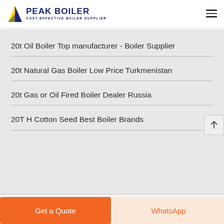PEAK BOILER — COST-EFFECTIVE BOILER SUPPLIER
20t Oil Boiler Top manufacturer - Boiler Supplier
20t Natural Gas Boiler Low Price Turkmenistan
20t Gas or Oil Fired Boiler Dealer Russia
20T H Cotton Seed Best Boiler Brands
Get a Quote
WhatsApp